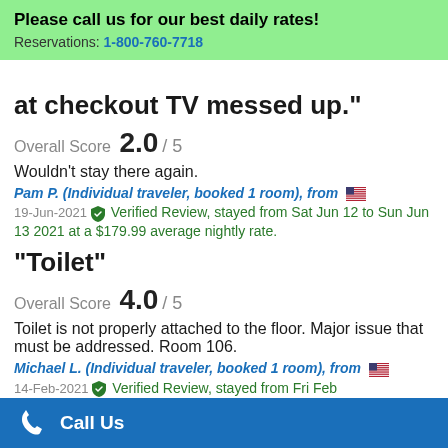Please call us for our best daily rates! Reservations: 1-800-760-7718
at checkout TV messed up."
Overall Score 2.0 / 5
Wouldn't stay there again.
Pam P. (Individual traveler, booked 1 room), from 🇺🇸
19-Jun-2021 ✔ Verified Review, stayed from Sat Jun 12 to Sun Jun 13 2021 at a $179.99 average nightly rate.
"Toilet"
Overall Score 4.0 / 5
Toilet is not properly attached to the floor. Major issue that must be addressed. Room 106.
Michael L. (Individual traveler, booked 1 room), from 🇺🇸
14-Feb-2021 ✔ Verified Review, stayed from Fri Feb
Call Us